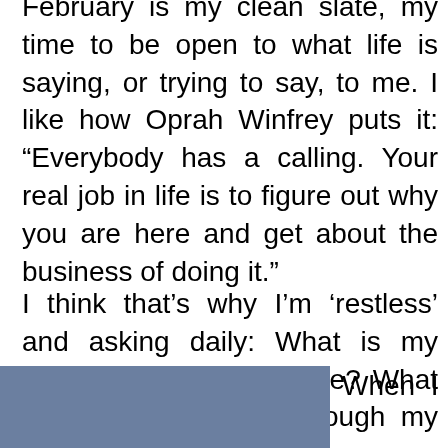February is my clean slate, my time to be open to what life is saying, or trying to say, to me. I like how Oprah Winfrey puts it: “Everybody has a calling. Your real job in life is to figure out why you are here and get about the business of doing it.”
I think that’s why I’m ‘restless’ and asking daily: What is my purpose? Why am I here? What is trying to emerge through my life? Where do I belong?
[Figure (photo): A blue-grey rectangular image partially visible at the bottom left of the page]
When I